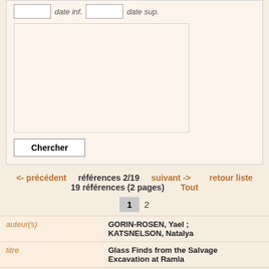[Figure (screenshot): Search form partial view showing date inferior and date superior input boxes, a large text area for search input, and a Chercher (Search) button]
<- précédent   références 2/19   suivant ->      retour liste
19 références (2 pages)      Tout
1  2
| field | value |
| --- | --- |
| auteur(s) | GORIN-ROSEN, Yael ; KATSNELSON, Natalya |
| titre | Glass Finds from the Salvage Excavation at Ramla |
| périodique | 'Atiqot 49 |